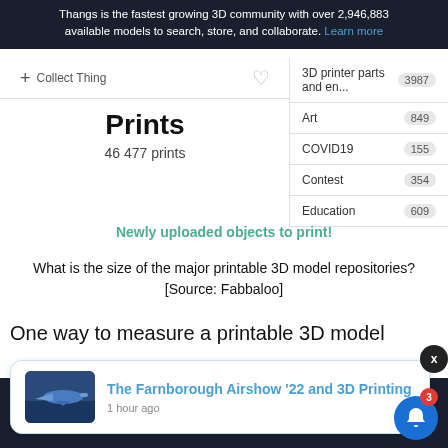Thangs is the fastest growing 3D community with over 2,946,883 available models to search, store, and collaborate. Learn more
+ Collect Thing
Prints
46 477 prints
| Category | Count |
| --- | --- |
| 3D printer parts and en... | 3987 |
| Art | 849 |
| COVID19 | 155 |
| Contest | 354 |
| Education | 609 |
Newly uploaded objects to print!
What is the size of the major printable 3D model repositories? [Source: Fabbaloo]
One way to measure a printable 3D model
[Figure (screenshot): Notification popup for 'The Farnborough Airshow '22 and 3D Printing' article, 1 hour ago, with airplane thumbnail image]
The Farnborough Airshow '22 and 3D Printing
1 hour ago
is compiled by this recent announcement from
The market shows recommended 3D at 3D